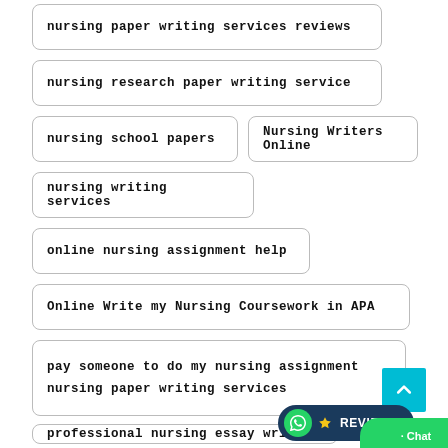nursing paper writing services reviews
nursing research paper writing service
nursing school papers
Nursing Writers Online
nursing writing services
online nursing assignment help
Online Write my Nursing Coursework in APA
pay someone to do my nursing assignment
nursing paper writing services
professional nursing essay writers
U.S Nursing Coursework Help in A